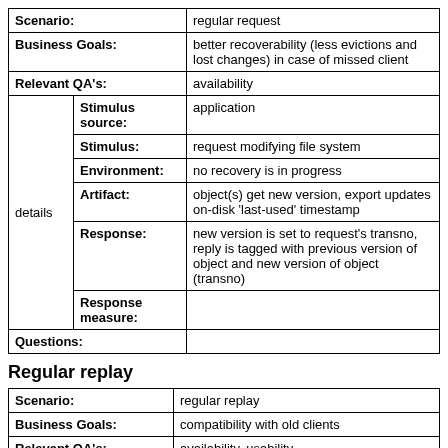| Scenario: |  | regular request |
| --- | --- | --- |
| Business Goals: |  | better recoverability (less evictions and lost changes) in case of missed client |
| Relevant QA's: |  | availability |
| details | Stimulus source: | application |
| details | Stimulus: | request modifying file system |
| details | Environment: | no recovery is in progress |
| details | Artifact: | object(s) get new version, export updates on-disk 'last-used' timestamp |
| details | Response: | new version is set to request's transno, reply is tagged with previous version of object and new version of object (transno) |
| details | Response measure: |  |
| Questions: |  |  |
Regular replay
| Scenario: | regular replay |
| --- | --- |
| Business Goals: | compatibility with old clients |
| Relevant QA's: | availability, usability |